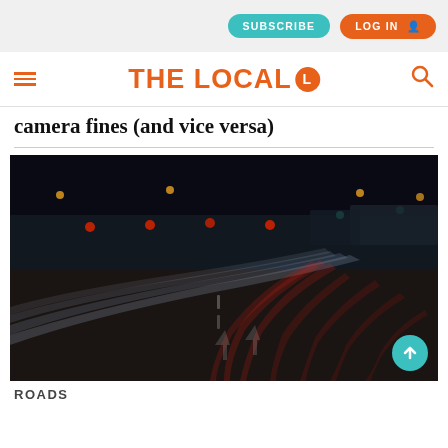SUBSCRIBE  LOG IN
THE LOCAL L
camera fines (and vice versa)
[Figure (photo): Long-exposure night photograph of a multi-lane highway with light trails from vehicles passing through toll booths, showing white and red streaks of light on a dark road surface.]
ROADS